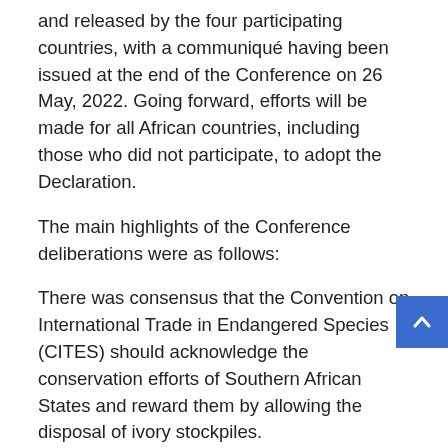and released by the four participating countries, with a communiqué having been issued at the end of the Conference on 26 May, 2022. Going forward, efforts will be made for all African countries, including those who did not participate, to adopt the Declaration.
The main highlights of the Conference deliberations were as follows:
There was consensus that the Convention on International Trade in Endangered Species (CITES) should acknowledge the conservation efforts of Southern African States and reward them by allowing the disposal of ivory stockpiles.
Domestic trade in ivory should also be permitted, with the sovereignty of States and their rights to sustainable use of wildlife being respected.
The participating countries emphasized on the need to generate revenues through sale of elephant and wildlife